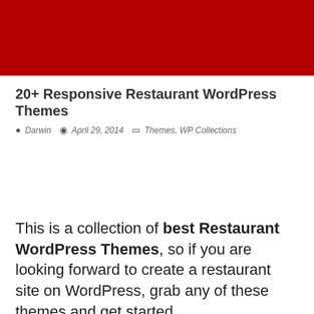[Figure (photo): Red banner/header image at the top of the page]
20+ Responsive Restaurant WordPress Themes
Darwin  April 29, 2014  Themes, WP Collections
This is a collection of best Restaurant WordPress Themes, so if you are looking forward to create a restaurant site on WordPress, grab any of these themes and get started.
The themes selected for this collection comes